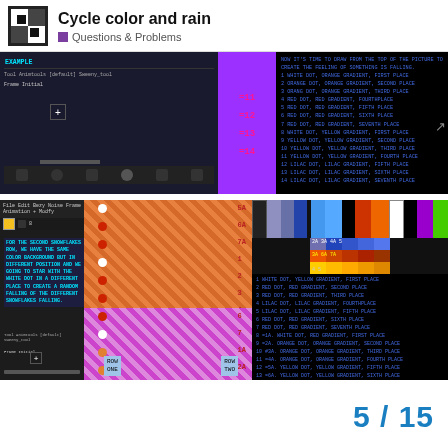Cycle color and rain — Questions & Problems
[Figure (screenshot): Top screenshot showing animation software with color cycle example, numbered list (=11 through =14) and blue text list of dot/gradient color positions 1-14]
[Figure (screenshot): Bottom screenshot showing animation software with snowflake color background settings, orange checkerboard pattern grid, color palette, and blue text list of 14 dot/gradient color positions for second snowflake row]
5 / 15